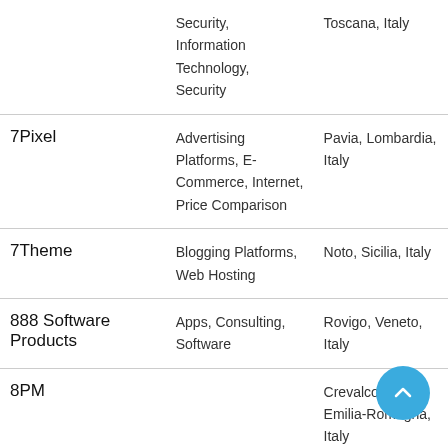| Company | Industries | Location |
| --- | --- | --- |
|  | Security, Information Technology, Security | Toscana, Italy |
| 7Pixel | Advertising Platforms, E-Commerce, Internet, Price Comparison | Pavia, Lombardia, Italy |
| 7Theme | Blogging Platforms, Web Hosting | Noto, Sicilia, Italy |
| 888 Software Products | Apps, Consulting, Software | Rovigo, Veneto, Italy |
| 8PM |  | Crevalcore, Emilia-Romagna, Italy |
| 9 Bureau - Digital | Digital Marketing, | Macerata, Marche, Italy |